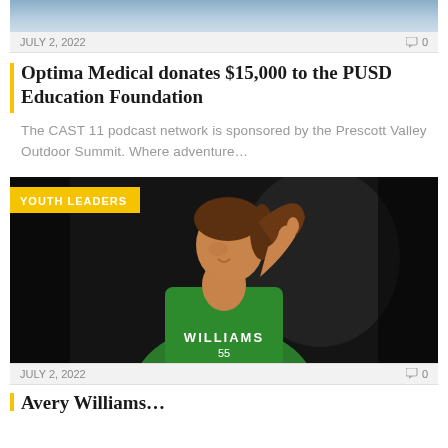[Figure (photo): Top cropped photo showing people in professional attire, partially visible]
JULY 2, 2022   0
Optima Medical donates $15,000 to the PUSD Education Foundation
The CAST 11 podcast network is sponsored by the Prescott Valley Outdoor Summit. Where adventure…
[Figure (photo): Young woman in green WILLIAMS jersey smiling over shoulder with thumbs up, dark background, YOUTH LEADERS badge overlay]
JULY 2, 2022   0
Avery Williams…